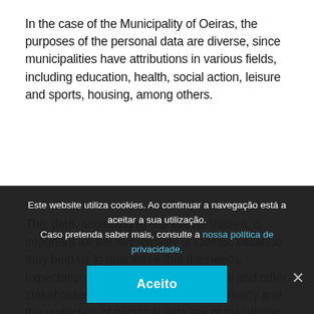In the case of the Municipality of Oeiras, the purposes of the personal data are diverse, since municipalities have attributions in various fields, including education, health, social action, leisure and sports, housing, among others.
This data, according to Rui Matias Várzea, is important for the Municipality of Oeiras, because they help us to guarantee that the needs, expectations and aspirations of citizens and other stakeholders are fully met. Likewise, privacy and the protection of personal data are of the utmost importance and there is a
Este website utiliza cookies. Ao continuar a navegação está a aceitar a sua utilização.
Caso pretenda saber mais, consulte a nossa política de privacidade.
Aceito